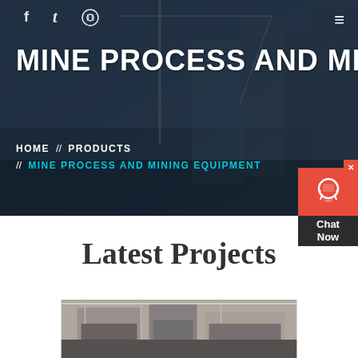[Figure (screenshot): Hero banner with dark blue overlay showing construction site/cranes and city buildings in background]
MINE PROCESS AND MINING EQ
HOME // PRODUCTS // MINE PROCESS AND MINING EQUIPMENT
[Figure (infographic): Red chat widget with headset icon and 'Chat Now' label]
Latest Projects
[Figure (photo): Industrial mining equipment / machinery in a facility, photo at bottom of page]